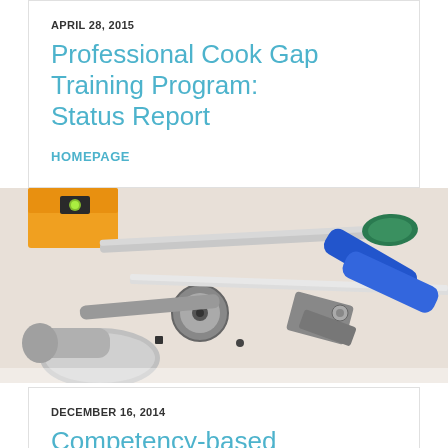APRIL 28, 2015
Professional Cook Gap Training Program: Status Report
HOMEPAGE
[Figure (photo): Close-up photo of various tools including a hammer, ratchet wrench, screwdriver with green handle, pliers with blue handles, and other tools arranged on a white surface.]
DECEMBER 16, 2014
Competency-based education: Training for the gap